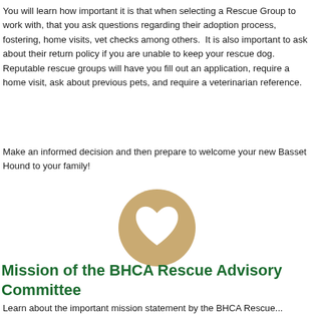You will learn how important it is that when selecting a Rescue Group to work with, that you ask questions regarding their adoption process, fostering, home visits, vet checks among others.  It is also important to ask about their return policy if you are unable to keep your rescue dog. Reputable rescue groups will have you fill out an application, require a home visit, ask about previous pets, and require a veterinarian reference.
Make an informed decision and then prepare to welcome your new Basset Hound to your family!
[Figure (illustration): A golden/tan circular icon with a white heart shape in the center]
Mission of the BHCA Rescue Advisory Committee
Learn about the important mission statement by the BHCA Rescue...